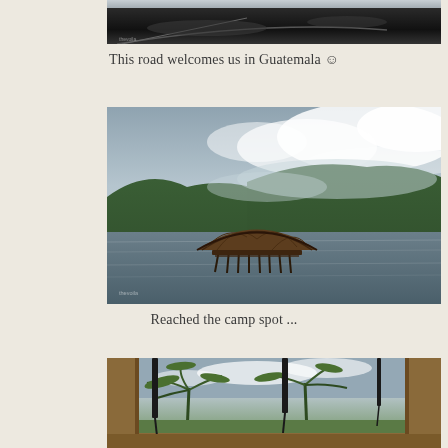[Figure (photo): Top portion of a vehicle interior/roof seen through a car windshield, dark surface, road ahead]
This road welcomes us in Guatemala ☺
[Figure (photo): A thatched-roof palapa hut on stilts standing in a lake, with green forested mountains and dramatic clouds behind it, overcast sky]
Reached the camp spot ...
[Figure (photo): View through a window with hanging dark curtains/blinds, palm trees and cloudy sky visible outside, brown wooden frame interior]